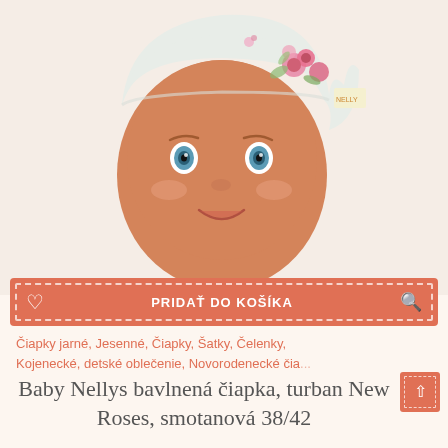[Figure (photo): Baby doll mannequin head wearing a white floral turban/hat with pink roses pattern, blue eyes, smiling]
PRIDAŤ DO KOŠÍKA
Čiapky jarné, Jesenné, Čiapky, Šatky, Čelenky, Kojenecké, detské oblečenie, Novorodenecké čia...
Baby Nellys bavlnená čiapka, turban New Roses, smotanová 38/42
€8.60